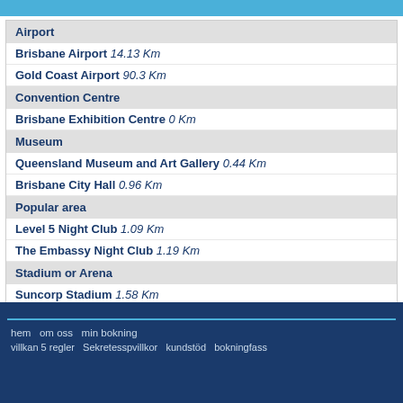Airport
Brisbane Airport 14.13 Km
Gold Coast Airport 90.3 Km
Convention Centre
Brisbane Exhibition Centre 0 Km
Museum
Queensland Museum and Art Gallery 0.44 Km
Brisbane City Hall 0.96 Km
Popular area
Level 5 Night Club 1.09 Km
The Embassy Night Club 1.19 Km
Stadium or Arena
Suncorp Stadium 1.58 Km
hem  om oss  min bokning
viltkan 5 regler  Sekretesspvillkor  kundstöd  bokningfass